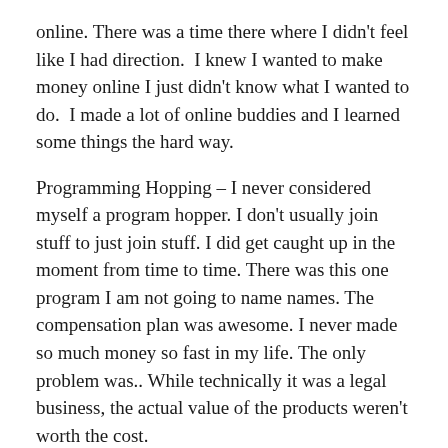online. There was a time there where I didn't feel like I had direction.  I knew I wanted to make money online I just didn't know what I wanted to do.  I made a lot of online buddies and I learned some things the hard way.
Programming Hopping – I never considered myself a program hopper. I don't usually join stuff to just join stuff. I did get caught up in the moment from time to time. There was this one program I am not going to name names. The compensation plan was awesome. I never made so much money so fast in my life. The only problem was.. While technically it was a legal business, the actual value of the products weren't worth the cost.
Note:
Over the years I constantly bought stuff to further